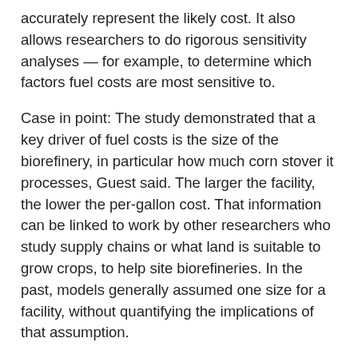accurately represent the likely cost. It also allows researchers to do rigorous sensitivity analyses — for example, to determine which factors fuel costs are most sensitive to.
Case in point: The study demonstrated that a key driver of fuel costs is the size of the biorefinery, in particular how much corn stover it processes, Guest said. The larger the facility, the lower the per-gallon cost. That information can be linked to work by other researchers who study supply chains or what land is suitable to grow crops, to help site biorefineries. In the past, models generally assumed one size for a facility, without quantifying the implications of that assumption.
BioSTEAM's speed is transformative. It was able to evaluate 31,000 different biorefinery designs, across a continuum of feedstock compositions, in less than 50 minutes. The results matched benchmark models